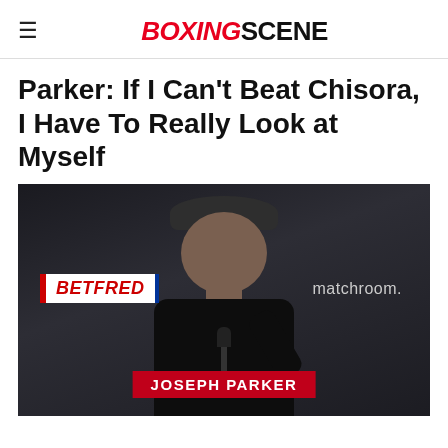BOXINGSCENE
Parker: If I Can't Beat Chisora, I Have To Really Look at Myself
[Figure (photo): Joseph Parker at a press conference, seated at a table with BETFRED and matchroom. branding visible in the background. A nameplate reading JOSEPH PARKER is in front of him. He is wearing a dark flat cap and black clothing, gesturing with his hand near a microphone.]